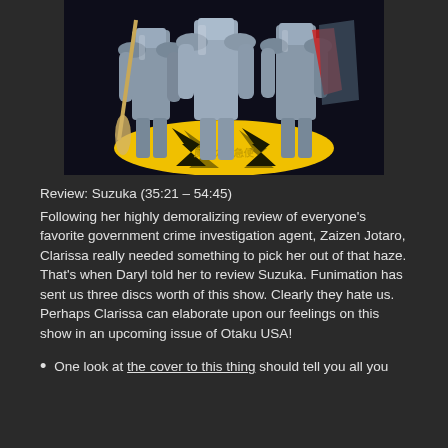[Figure (illustration): Anime illustration showing armored figures standing on a yellow lightning bolt emblem with Japanese text (魔女の宅急便 style logo). Characters in silver armor with a broom visible. Dark background.]
Review: Suzuka (35:21 – 54:45)
Following her highly demoralizing review of everyone's favorite government crime investigation agent, Zaizen Jotaro, Clarissa really needed something to pick her out of that haze. That's when Daryl told her to review Suzuka. Funimation has sent us three discs worth of this show. Clearly they hate us. Perhaps Clarissa can elaborate upon our feelings on this show in an upcoming issue of Otaku USA!
One look at the cover to this thing should tell you all you